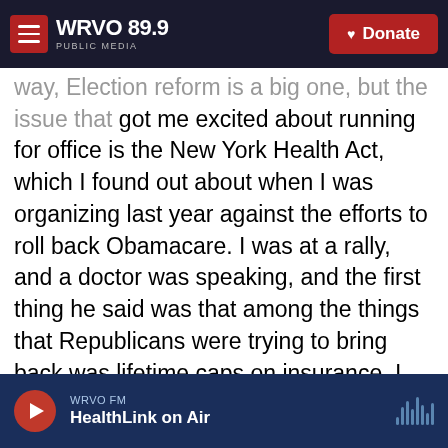WRVO 89.9 PUBLIC MEDIA | Donate
way, Election reform is a big one, but the issue that got me excited about running for office is the New York Health Act, which I found out about when I was organizing last year against the efforts to roll back Obamacare. I was at a rally, and a doctor was speaking, and the first thing he said was that among the things that Republicans were trying to bring back was lifetime caps on insurance. I ran into the problem with lifetime caps on insurance—which meant, in the bad old days, insurance companies could just cut you off when they had spent a certain amount of money on you, no matter how sick you were—when I was 30 years old. My
WRVO FM | HealthLink on Air